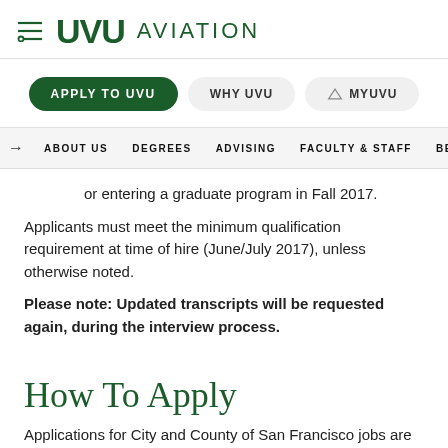UVU AVIATION
APPLY TO UVU   WHY UVU   MYUVU
ABOUT US   DEGREES   ADVISING   FACULTY & STAFF   BECOME A S...
or entering a graduate program in Fall 2017.
Applicants must meet the minimum qualification requirement at time of hire (June/July 2017), unless otherwise noted.
Please note: Updated transcripts will be requested again, during the interview process.
How To Apply
Applications for City and County of San Francisco jobs are only accepted through an online process. Visit www.jobaps.com/sf to